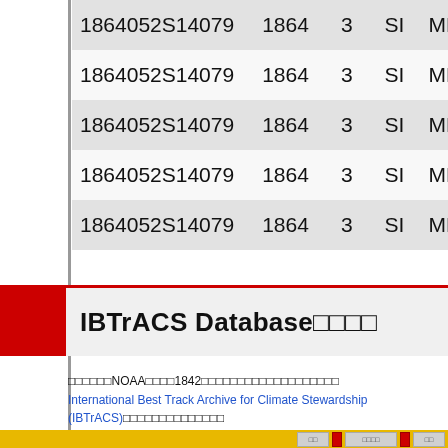| ID | Year | Col3 | Col4 | Col5 |
| --- | --- | --- | --- | --- |
| 1864052S14079 | 1864 | 3 | SI | MM |
| 1864052S14079 | 1864 | 3 | SI | MM |
| 1864052S14079 | 1864 | 3 | SI | MM |
| 1864052S14079 | 1864 | 3 | SI | MM |
| 1864052S14079 | 1864 | 3 | SI | MM |
IBTrACS Database
NOAAが提供する1842年以降の台風のベストトラックデータを収録したデータベース。International Best Track Archive for Climate Stewardship (IBTrACS)のデータを使用しています。
最終更新日2022-08-26